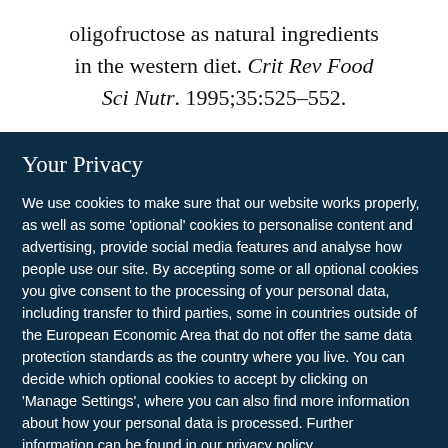oligofructose as natural ingredients in the western diet. Crit Rev Food Sci Nutr. 1995;35:525–552.
Your Privacy
We use cookies to make sure that our website works properly, as well as some 'optional' cookies to personalise content and advertising, provide social media features and analyse how people use our site. By accepting some or all optional cookies you give consent to the processing of your personal data, including transfer to third parties, some in countries outside of the European Economic Area that do not offer the same data protection standards as the country where you live. You can decide which optional cookies to accept by clicking on 'Manage Settings', where you can also find more information about how your personal data is processed. Further information can be found in our privacy policy.
Accept all cookies
Manage preferences